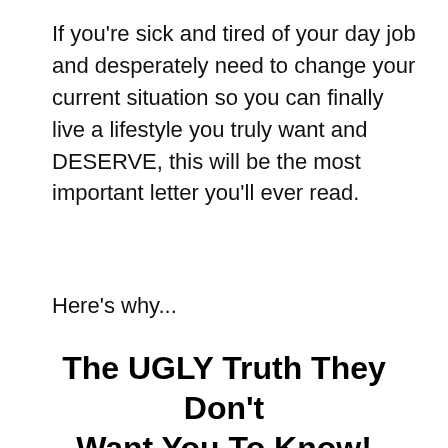If you're sick and tired of your day job and desperately need to change your current situation so you can finally live a lifestyle you truly want and DESERVE, this will be the most important letter you'll ever read.
Here's why...
The UGLY Truth They Don't Want You To Know!